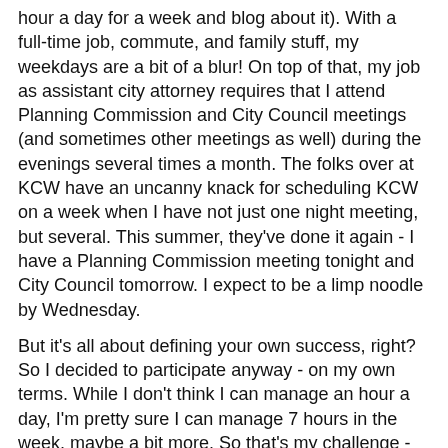hour a day for a week and blog about it). With a full-time job, commute, and family stuff, my weekdays are a bit of a blur! On top of that, my job as assistant city attorney requires that I attend Planning Commission and City Council meetings (and sometimes other meetings as well) during the evenings several times a month. The folks over at KCW have an uncanny knack for scheduling KCW on a week when I have not just one night meeting, but several. This summer, they've done it again - I have a Planning Commission meeting tonight and City Council tomorrow. I expect to be a limp noodle by Wednesday.
But it's all about defining your own success, right? So I decided to participate anyway - on my own terms. While I don't think I can manage an hour a day, I'm pretty sure I can manage 7 hours in the week, maybe a bit more. So that's my challenge - sew the equivalent of an hour a day for a week.
I did a little prep over the weekend, tracing some Oliver + s patterns and doing some cutting. Here's what I'm planning:
1. Class Picnic Blouse in blue gingham (with yellow piping)